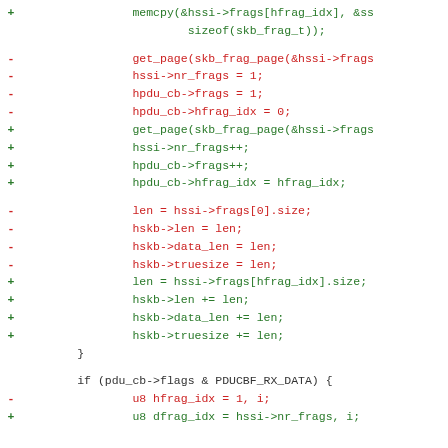[Figure (screenshot): A code diff showing changes to a C source file. Lines prefixed with '+' are additions (green) and lines prefixed with '-' are deletions (red). The diff shows modifications to fragment handling logic including memcpy, get_page, nr_frags, hfrag_idx, len/size assignments, and a new if-block for PDUCBF_RX_DATA.]